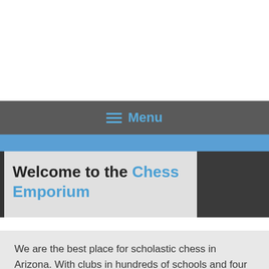Menu
Welcome to the Chess Emporium
We are the best place for scholastic chess in Arizona. With clubs in hundreds of schools and four learning centers, we offer a one-stop environment for everything chess. Our programs